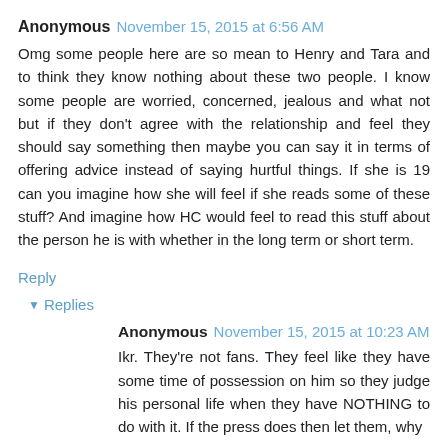Anonymous November 15, 2015 at 6:56 AM
Omg some people here are so mean to Henry and Tara and to think they know nothing about these two people. I know some people are worried, concerned, jealous and what not but if they don't agree with the relationship and feel they should say something then maybe you can say it in terms of offering advice instead of saying hurtful things. If she is 19 can you imagine how she will feel if she reads some of these stuff? And imagine how HC would feel to read this stuff about the person he is with whether in the long term or short term.
Reply
Replies
Anonymous November 15, 2015 at 10:23 AM
Ikr. They're not fans. They feel like they have some time of possession on him so they judge his personal life when they have NOTHING to do with it. If the press does then let them, why